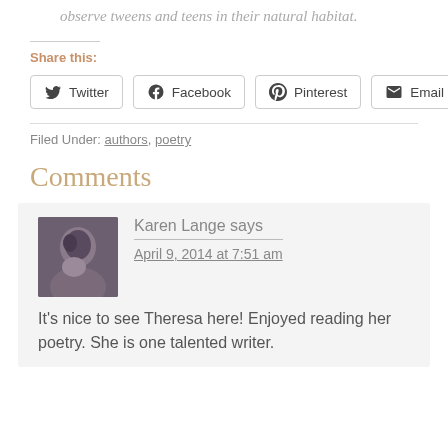observe tweens and teens in their natural habitat.
Share this:
Twitter  Facebook  Pinterest  Email
Filed Under: authors, poetry
Comments
Karen Lange says
April 9, 2014 at 7:51 am
It's nice to see Theresa here! Enjoyed reading her poetry. She is one talented writer.